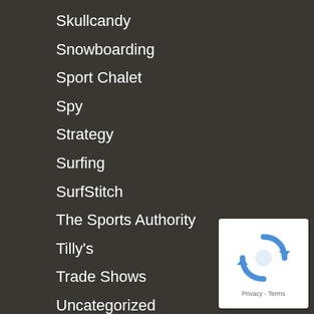Skullcandy
Snowboarding
Sport Chalet
Spy
Strategy
Surfing
SurfStitch
The Sports Authority
Tilly's
Trade Shows
Uncategorized
Vail Resorts
VF Corp. (Vans, Reef, North Face)
Volcom
Zumiez
[Figure (logo): reCAPTCHA badge with spinning arrows icon and Privacy - Terms text]